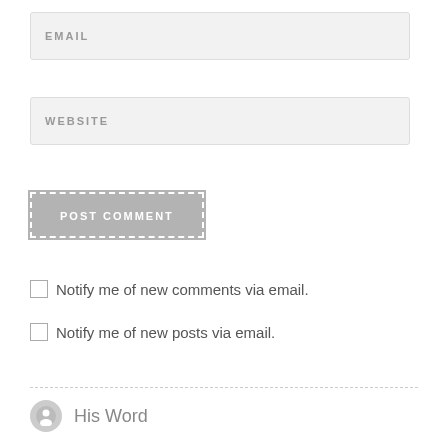[Figure (screenshot): Email input field with placeholder text EMAIL in uppercase gray letters, light gray background with border]
[Figure (screenshot): Website input field with placeholder text WEBSITE in uppercase gray letters, light gray background with border]
[Figure (screenshot): POST COMMENT button in gray with white dashed inner border]
Notify me of new comments via email.
Notify me of new posts via email.
His Word